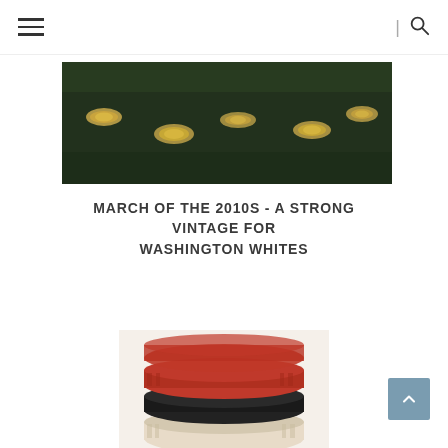Menu | Search
[Figure (photo): Dark photo of wine bottles stored horizontally, showing gold foil caps, surrounded by green foliage]
MARCH OF THE 2010S - A STRONG VINTAGE FOR WASHINGTON WHITES
[Figure (photo): Close-up of wine bottle capsules/caps in red, black, and cream colors stacked, showing ridged screw caps]